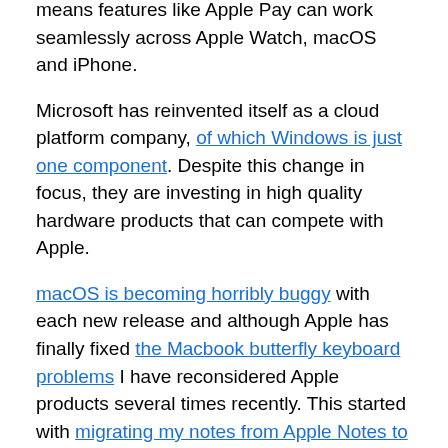means features like Apple Pay can work seamlessly across Apple Watch, macOS and iPhone.
Microsoft has reinvented itself as a cloud platform company, of which Windows is just one component. Despite this change in focus, they are investing in high quality hardware products that can compete with Apple.
macOS is becoming horribly buggy with each new release and although Apple has finally fixed the Macbook butterfly keyboard problems I have reconsidered Apple products several times recently. This started with migrating my notes from Apple Notes to plain text Markdown format but 11 years after leaving Vista, I have been reconsidering Windows.
Surface devices